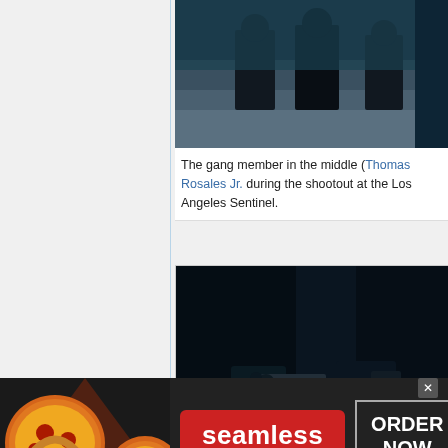[Figure (screenshot): Dark scene from a TV show or movie showing figures in a corridor, partial view of upper portion]
The gang member in the middle (Thomas Rosales Jr. during the shootout at the Los Angeles Sentinel.
[Figure (screenshot): Close-up dark scene showing a person in black holding a submachine gun, from a TV show or movie]
[Figure (infographic): Seamless food delivery advertisement banner showing pizza image on left, Seamless logo in red center button, and ORDER NOW button on right with close X button]